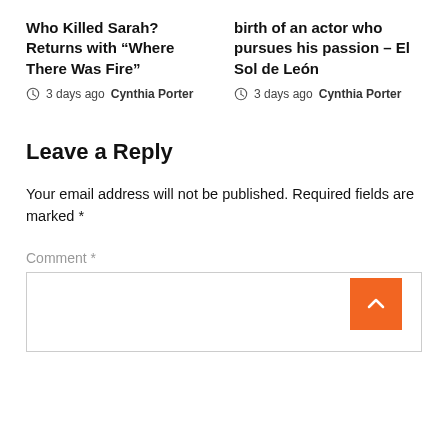Who Killed Sarah? Returns with “Where There Was Fire”
3 days ago  Cynthia Porter
birth of an actor who pursues his passion – El Sol de León
3 days ago  Cynthia Porter
Leave a Reply
Your email address will not be published. Required fields are marked *
Comment *